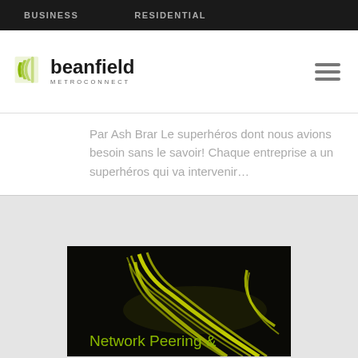BUSINESS   RESIDENTIAL
[Figure (logo): Beanfield Metroconnect logo with green stylized icon and company name]
Par Ash Brar Le superhéros dont nous avions besoin sans le savoir! Chaque entreprise a un superhéros qui va intervenir…
[Figure (photo): Long exposure night photo of highway light trails forming curved yellow-green streaks on dark background]
Network Peering &